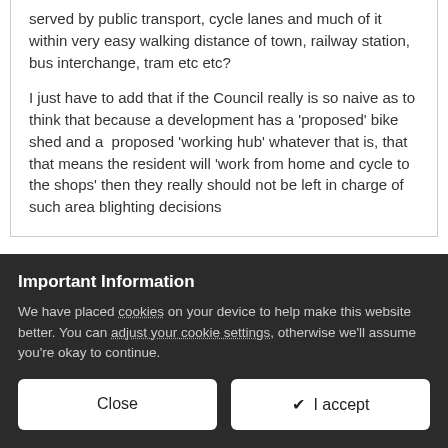served by public transport, cycle lanes and much of it within very easy walking distance of town, railway station, bus interchange, tram etc etc?

I just have to add that if the Council really is so naive as to think that because a development has a 'proposed' bike shed and a  proposed 'working hub' whatever that is, that that means the resident will 'work from home and cycle to the shops' then they really should not be left in charge of such area blighting decisions
We need to get real here. We are talking about SCC / SRC or
Important Information
We have placed cookies on your device to help make this website better. You can adjust your cookie settings, otherwise we'll assume you're okay to continue.